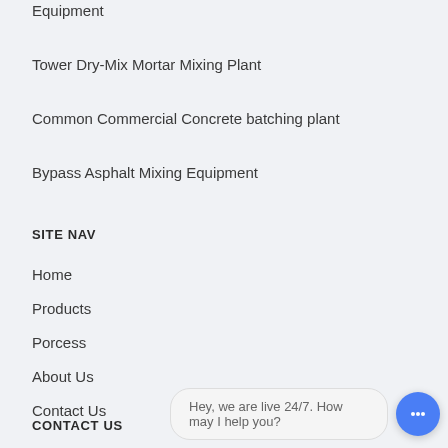Equipment
Tower Dry-Mix Mortar Mixing Plant
Common Commercial Concrete batching plant
Bypass Asphalt Mixing Equipment
SITE NAV
Home
Products
Porcess
About Us
Contact Us
CONTACT US
Hey, we are live 24/7. How may I help you?